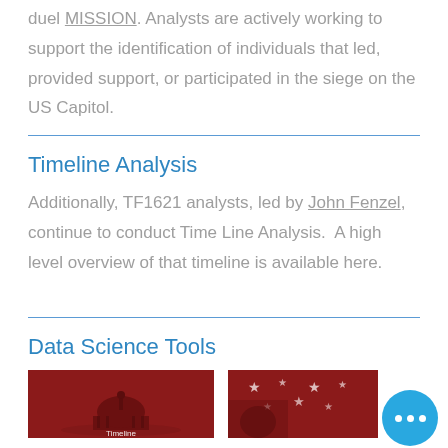duel MISSION. Analysts are actively working to support the identification of individuals that led, provided support, or participated in the siege on the US Capitol.
Timeline Analysis
Additionally, TF1621 analysts, led by John Fenzel, continue to conduct Time Line Analysis. A high level overview of that timeline is available here.
Data Science Tools
[Figure (photo): Red image with US Capitol dome silhouette and text 'Timeline' at bottom]
[Figure (photo): Red image with stars/flag imagery]